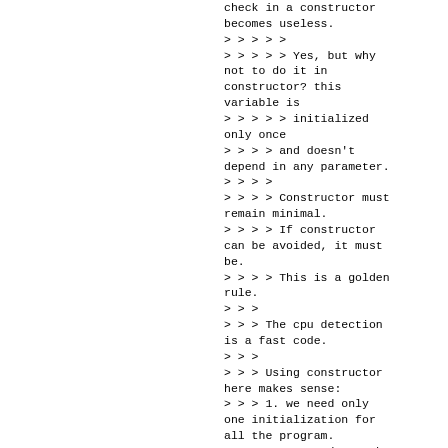check in a constructor becomes useless.
> > > > >
> > > > > Yes, but why not to do it in constructor? this variable is
> > > > > initialized only once
> > > > and doesn't depend in any parameter.
> > > >
> > > > Constructor must remain minimal.
> > > > If constructor can be avoided, it must be.
> > > > This is a golden rule.
> > >
> > > The cpu detection is a fast code.
> > >
> > > Using constructor here makes sense:
> > > 1. we need only one initialization for all the program.
> > > 2. no need to take care of multithreading on the single.